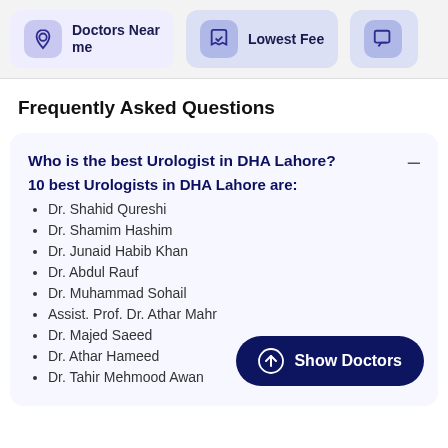[Figure (infographic): Top navigation bar with filter buttons: 'Doctors Near me' with location pin icon, 'Lowest Fee' with shield icon, and a partially visible third button with chat icon]
Frequently Asked Questions
Who is the best Urologist in DHA Lahore?
10 best Urologists in DHA Lahore are:
Dr. Shahid Qureshi
Dr. Shamim Hashim
Dr. Junaid Habib Khan
Dr. Abdul Rauf
Dr. Muhammad Sohail
Assist. Prof. Dr. Athar Mahr
Dr. Majed Saeed
Dr. Athar Hameed
Dr. Tahir Mehmood Awan